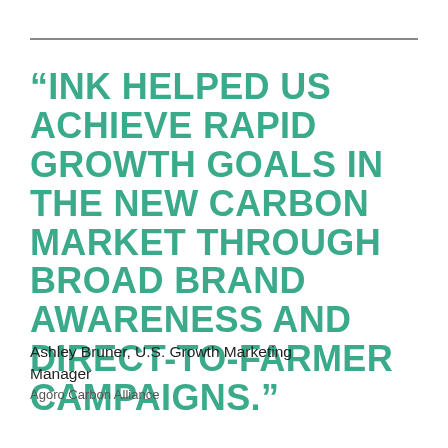“INK HELPED US ACHIEVE RAPID GROWTH GOALS IN THE NEW CARBON MARKET THROUGH BROAD BRAND AWARENESS AND DIRECT-TO-FARMER CAMPAIGNS.”
Ashley Bruner, U.S. Growth Marketing Manager
Agoro Carbon Alliance